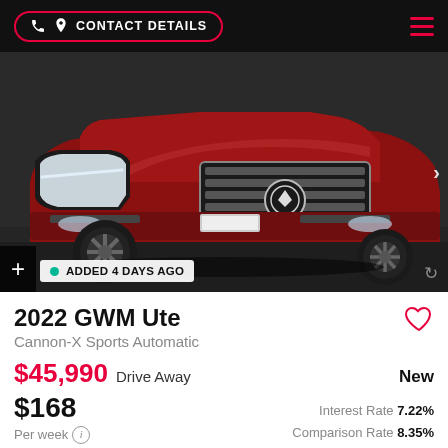CONTACT DETAILS
[Figure (photo): Front view of a red 2022 GWM Ute Cannon-X SUV/pickup truck in a parking area, showing the grille, headlights, and front bumper.]
ADDED 4 DAYS AGO
2022 GWM Ute
Cannon-X Sports Automatic
$45,990 Drive Away    New
$168
Per week    Interest Rate 7.22%
              Comparison Rate 8.35%